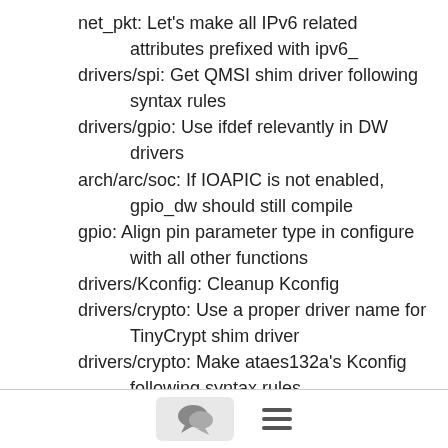net_pkt: Let's make all IPv6 related attributes prefixed with ipv6_
drivers/spi: Get QMSI shim driver following syntax rules
drivers/gpio: Use ifdef relevantly in DW drivers
arch/arc/soc: If IOAPIC is not enabled, gpio_dw should still compile
gpio: Align pin parameter type in configure with all other functions
drivers/Kconfig: Cleanup Kconfig
drivers/crypto: Use a proper driver name for TinyCrypt shim driver
drivers/crypto: Make ataes132a's Kconfig following syntax rules
drivers/crypto: Prefix source code relevantly
crypto: Remove useless attribute
drivers/crypto: Use sys_log automatic newline addition in tinycrypt shim
drivers/crypto: Make tc shim number of sessions Kconfig